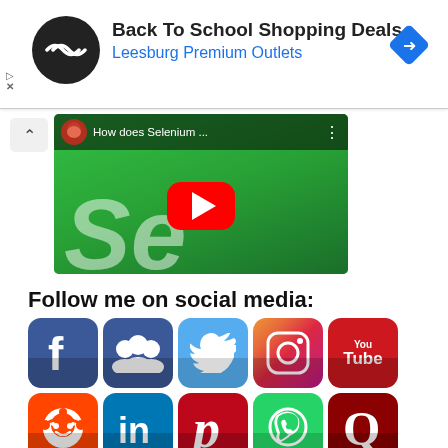[Figure (screenshot): Advertisement banner: Back To School Shopping Deals - Leesburg Premium Outlets with logo and navigation arrow icon]
[Figure (screenshot): YouTube video thumbnail showing Selenium tutorial 'How does Selenium ...' with green background and YouTube play button]
Follow me on social media:
[Figure (infographic): Social media icons grid: Facebook, Groups, Twitter, Instagram, YouTube, Reddit, LinkedIn, Pinterest, WhatsApp, Quora, and a compass/explore icon]